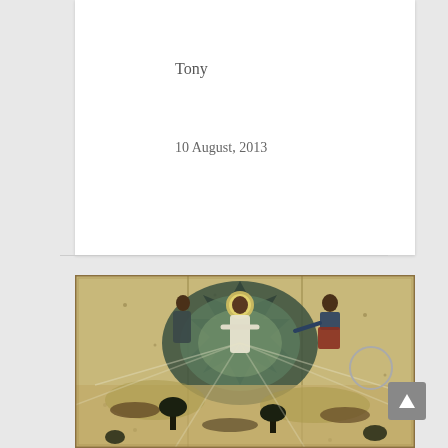Tony
10 August, 2013
[Figure (illustration): A Russian Orthodox icon painting depicting the Transfiguration of Christ. A central white-robed figure (Jesus) is shown in a mandorla (almond-shaped glory) surrounded by blue-green geometric shapes. To the left is a prophet figure and to the right is an apostle in red and blue clothing. The lower portion shows prostrate figures on rocky ground with dark stylized trees. The painting has an aged, cracked appearance with gold and muted tones.]